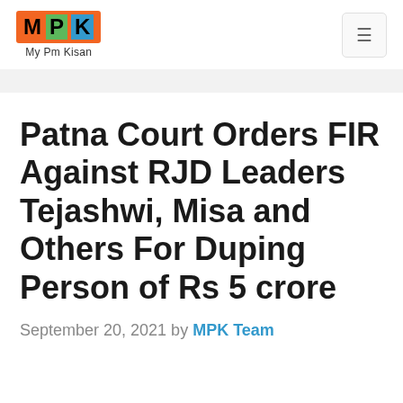[Figure (logo): MPK - My Pm Kisan logo with orange background, green P, blue K letters]
Patna Court Orders FIR Against RJD Leaders Tejashwi, Misa and Others For Duping Person of Rs 5 crore
September 20, 2021 by MPK Team